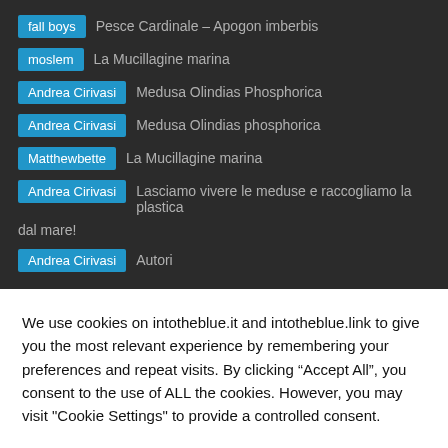fall boys — Pesce Cardinale – Apogon imberbis
moslem — La Mucillagine marina
Andrea Cirivasi — Medusa Olindias Phosphorica
Andrea Cirivasi — Medusa Olindias phosphorica
Matthewbette — La Mucillagine marina
Andrea Cirivasi — Lasciamo vivere le meduse e raccogliamo la plastica dal mare!
Andrea Cirivasi — Autori
We use cookies on intotheblue.it and intotheblue.link to give you the most relevant experience by remembering your preferences and repeat visits. By clicking “Accept All”, you consent to the use of ALL the cookies. However, you may visit "Cookie Settings" to provide a controlled consent.
Cookie Settings  Accept All  Reject All  Read More